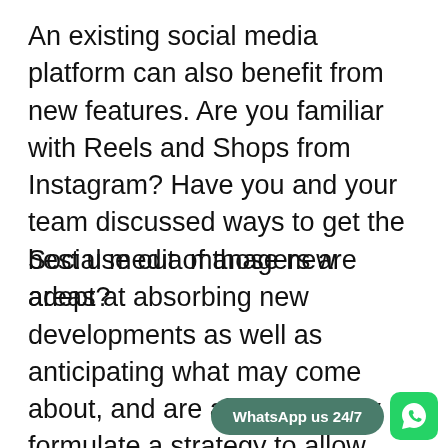An existing social media platform can also benefit from new features. Are you familiar with Reels and Shops from Instagram? Have you and your team discussed ways to get the best use out of those new areas?
Social media managers are adept at absorbing new developments as well as anticipating what may come about, and are able to quickly formulate a strategy to allow them to go back to the drawing board with their clients to adapt campaign objectives and content a… ensure continued success.